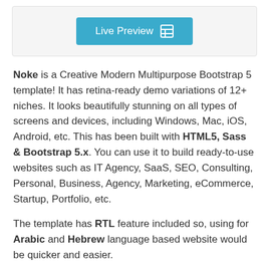[Figure (screenshot): A teal/blue 'Live Preview' button with a grid/table icon on the right, displayed inside a light gray card container.]
Noke is a Creative Modern Multipurpose Bootstrap 5 template! It has retina-ready demo variations of 12+ niches. It looks beautifully stunning on all types of screens and devices, including Windows, Mac, iOS, Android, etc. This has been built with HTML5, Sass & Bootstrap 5.x. You can use it to build ready-to-use websites such as IT Agency, SaaS, SEO, Consulting, Personal, Business, Agency, Marketing, eCommerce, Startup, Portfolio, etc.
The template has RTL feature included so, using for Arabic and Hebrew language based website would be quicker and easier.
Also, the template is easily customizable and expandable with detailed documentation. Noke is a modern and W3